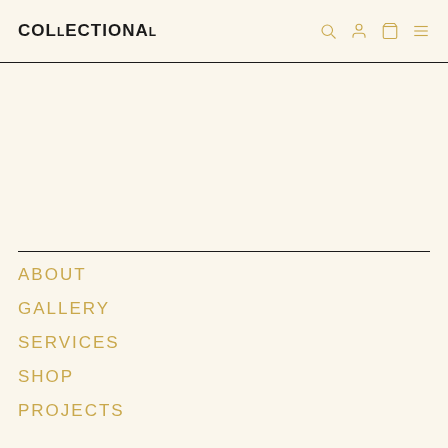COLLECTIONAL
ABOUT
GALLERY
SERVICES
SHOP
PROJECTS